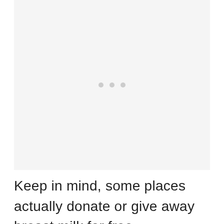[Figure (photo): Loading placeholder with three grey dots centered on a light grey background, indicating an image that has not yet loaded.]
Keep in mind, some places actually donate or give away breast milk for free.